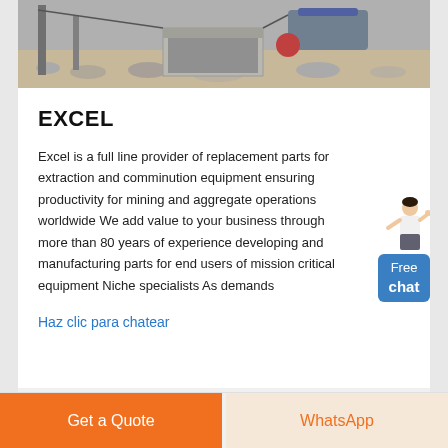[Figure (photo): Mining site photo showing machinery, concrete block, and crushed stone/aggregate in an industrial setting]
EXCEL
Excel is a full line provider of replacement parts for extraction and comminution equipment ensuring productivity for mining and aggregate operations worldwide We add value to your business through more than 80 years of experience developing and manufacturing parts for end users of mission critical equipment Niche specialists As demands
Haz clic para chatear
[Figure (illustration): Customer service representative figure with Free chat button widget]
Get a Quote
WhatsApp